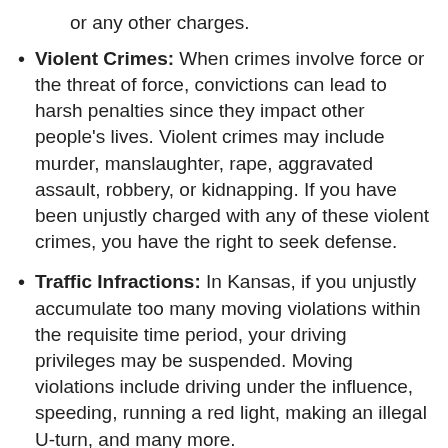or any other charges.
Violent Crimes: When crimes involve force or the threat of force, convictions can lead to harsh penalties since they impact other people's lives. Violent crimes may include murder, manslaughter, rape, aggravated assault, robbery, or kidnapping. If you have been unjustly charged with any of these violent crimes, you have the right to seek defense.
Traffic Infractions: In Kansas, if you unjustly accumulate too many moving violations within the requisite time period, your driving privileges may be suspended. Moving violations include driving under the influence, speeding, running a red light, making an illegal U-turn, and many more.
Sours: https://www.hulnicklaw.com/